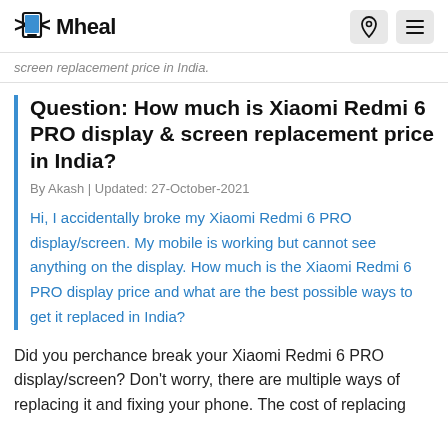Mheal
screen replacement price in India.
Question: How much is Xiaomi Redmi 6 PRO display & screen replacement price in India?
By Akash | Updated: 27-October-2021
Hi, I accidentally broke my Xiaomi Redmi 6 PRO display/screen. My mobile is working but cannot see anything on the display. How much is the Xiaomi Redmi 6 PRO display price and what are the best possible ways to get it replaced in India?
Did you perchance break your Xiaomi Redmi 6 PRO display/screen? Don't worry, there are multiple ways of replacing it and fixing your phone. The cost of replacing